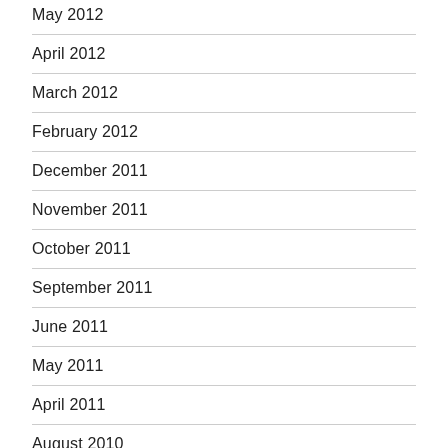May 2012
April 2012
March 2012
February 2012
December 2011
November 2011
October 2011
September 2011
June 2011
May 2011
April 2011
August 2010